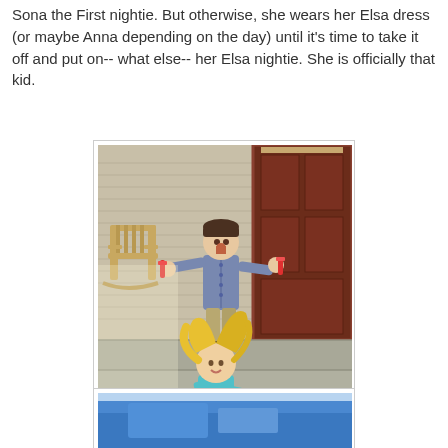Sona the First nightie.  But otherwise, she wears her Elsa dress (or maybe Anna depending on the day) until it's time to take it off and put on-- what else-- her Elsa nightie.  She is officially that kid.
[Figure (photo): Two children on front porch steps. A boy in a blue cardigan stands at the top of concrete steps holding what appear to be popsicles with arms outstretched and mouth open. A girl in a teal/turquoise Elsa princess dress with blonde hair stands on a lower step, also holding something. A wooden rocking chair is visible on the porch along with a brown front door.]
[Figure (photo): Partial view of a second photo showing blue tones, cropped at bottom of page.]